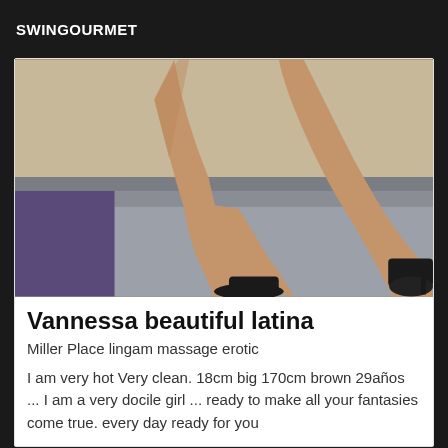SWINGOURMET
[Figure (photo): Photo of legs of a woman wearing black high heels, sitting on a grey sofa with a purple cushion and beige floor visible.]
Vannessa beautiful latina
Miller Place lingam massage erotic
I am very hot Very clean. 18cm big 170cm brown 29años ... I am a very docile girl ... ready to make all your fantasies come true. every day ready for you
[Figure (photo): Partial view of a second listing with a grey/taupe background and an 'Online' badge in the bottom right corner.]